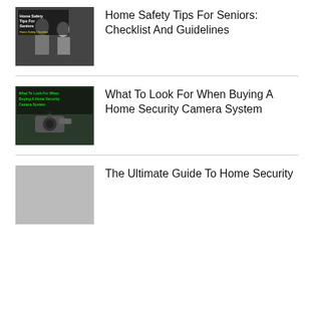[Figure (photo): Black and white photo of two elderly people, with text overlay reading 'Home Safety Tips For Seniors' and 'Home Safety Checklist']
Home Safety Tips For Seniors: Checklist And Guidelines
[Figure (photo): Photo of a security camera mounted on a wall with green text overlay reading 'What To Look For When Buying A Home Security Camera System']
What To Look For When Buying A Home Security Camera System
[Figure (photo): Placeholder image area for The Ultimate Guide To Home Security]
The Ultimate Guide To Home Security